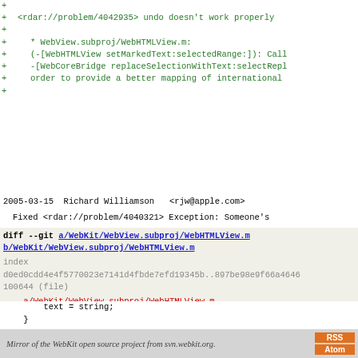+ <rdar://problem/4042935> undo doesn't work properly
+ * WebView.subproj/WebHTMLView.m:
+ (-[WebHTMLView setMarkedText:selectedRange:]): Call
+ -[WebCoreBridge replaceSelectionWithText:selectRepl
+ order to provide a better mapping of international
+
2005-03-15  Richard Williamson  <rjw@apple.com>
Fixed <rdar://problem/4040321> Exception: Someone's
diff --git a/WebKit/WebView.subproj/WebHTMLView.m b/WebKit/WebView.subproj/WebHTMLView.m
index
d0ed0cdd4e4f5770023e7141d4fbde7efd19345b..897be98e9f66a4646
100644 (file)
--- a/WebKit/WebView.subproj/WebHTMLView.m
+++ b/WebKit/WebView.subproj/WebHTMLView.m
@@ -5002,7 +5002,7 @@ static NSArray *validAttributes = nil;
        text = string;
    }

-    [bridge replaceSelectionWithText:text selectReplacement
+    [bridge replaceMarkedTextWithText:text];
    [bridge setMarkedTextDOMRange:[self _selectedRange] cu
    if ([self hasMarkedText]) {
        [self _selectRangeInMarkedText:newSelRange];
Mirror of the WebKit open source project from svn.webkit.org.   RSS  Atom